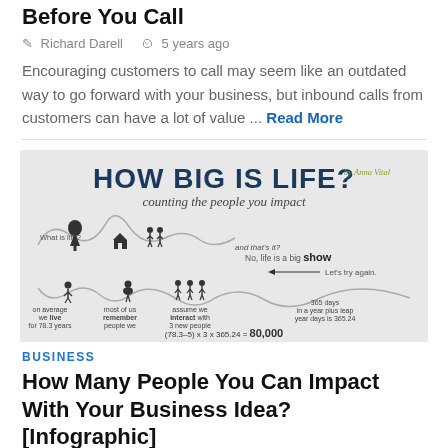Before You Call
Richard Darell   5 years ago
Encouraging customers to call may seem like an outdated way to go forward with your business, but inbound calls from customers can have a lot of value ... Read More
[Figure (infographic): How Big Is Life? by Anna Vital. Counting the people you impact. An infographic showing life stages with icons (tree, house, people) along a wavy line, with statistics about average lifespan (78.3 years), memory, interaction with 3 new people per day, 365.24 days/year, resulting in 80,000 people impacted. Formula: (78.3-5) x 3 x 365.24 = 80,000]
BUSINESS
How Many People You Can Impact With Your Business Idea? [Infographic]